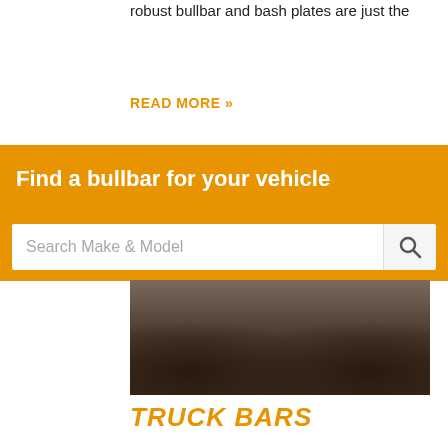robust bullbar and bash plates are just the
READ MORE »
Find a bullbar for your vehicle
Search Make & Model
[Figure (photo): Close-up photograph of a metal bullbar/truck bar assembly on a vehicle, showing chrome and steel construction against a wooden background]
TRUCK BARS
Once upon a time, bullbar fabricators would build the biggest strongest barwork they could to reduce damage from the likes of animal strikes and minor